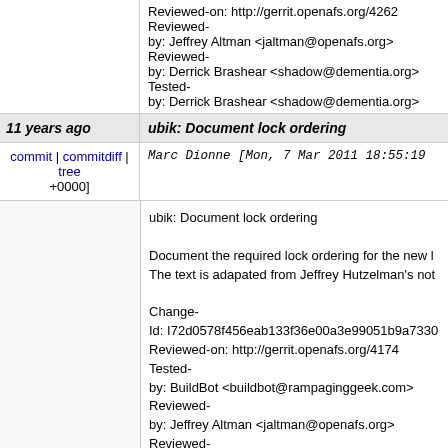Reviewed-on: http://gerrit.openafs.org/4262
Reviewed-by: Jeffrey Altman <jaltman@openafs.org>
Reviewed-by: Derrick Brashear <shadow@dementia.org>
Tested-by: Derrick Brashear <shadow@dementia.org>
11 years ago
ubik: Document lock ordering
commit | commitdiff | tree
Marc Dionne [Mon, 7 Mar 2011 18:55:19 +0000]
ubik: Document lock ordering

Document the required lock ordering for the new l
The text is adapated from Jeffrey Hutzelman's not

Change-Id: I72d0578f456eab133f36e00a3e99051b9a7330
Reviewed-on: http://gerrit.openafs.org/4174
Tested-by: BuildBot <buildbot@rampaginggeek.com>
Reviewed-by: Jeffrey Altman <jaltman@openafs.org>
Reviewed-by: Derrick Brashear <shadow@dementia.org>